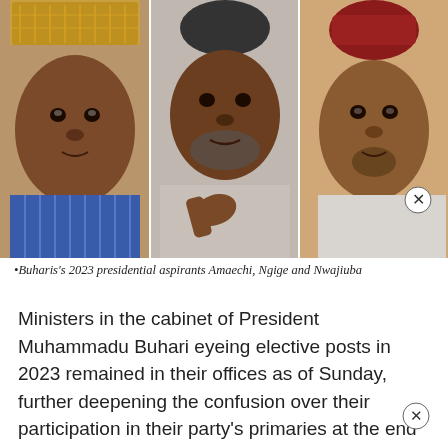[Figure (photo): Three men side by side: left man wearing a colorful cap and blue striped shirt (Amaechi), center man in grey agbada gesturing with hand (Ngige), right man in red cap and light grey attire (Nwajiuba) with a close button overlaid]
•Buharis's 2023 presidential aspirants Amaechi, Ngige and Nwajiuba
Ministers in the cabinet of President Muhammadu Buhari eyeing elective posts in 2023 remained in their offices as of Sunday, further deepening the confusion over their participation in their party's primaries at the end of the month.